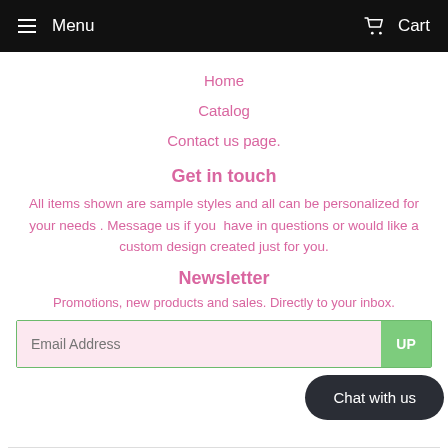Menu  Cart
Home
Catalog
Contact us page.
Get in touch
All items shown are sample styles and all can be personalized for your needs . Message us if you  have in questions or would like a custom design created just for you.
Newsletter
Promotions, new products and sales. Directly to your inbox.